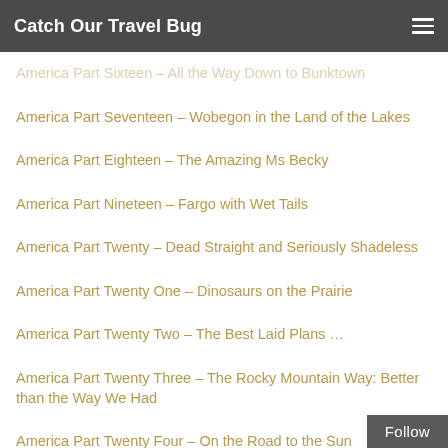Catch Our Travel Bug
America Part Sixteen – All the Way Down to Bunktown
America Part Seventeen – Wobegon in the Land of the Lakes
America Part Eighteen – The Amazing Ms Becky
America Part Nineteen – Fargo with Wet Tails
America Part Twenty – Dead Straight and Seriously Shadeless
America Part Twenty One – Dinosaurs on the Prairie
America Part Twenty Two – The Best Laid Plans …
America Part Twenty Three – The Rocky Mountain Way: Better than the Way We Had
America Part Twenty Four – On the Road to the Sun
America Part Tweny Five – Fortine: Unlucky for Some
America Part Twenty Six – So We Get Out of the Kits…